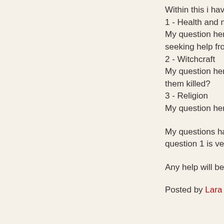Within this i have to form 3
1 - Health and medicines
My question here is: How d... seeking help from diferent
2 - Witchcraft
My question here is: how d... them killed?
3 - Religion
My question here is: How d...
My questions have to show... question 1 is very good, it i...
Any help will be much appr...
Posted by Lara at 2:12 PM
Question from Em...
Henry VIII fell in love with h... ridiculous question, but how... her, or what?